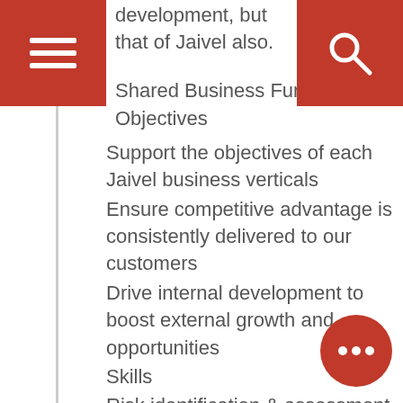development, but that of Jaivel also.
Shared Business Functions - Objectives
Support the objectives of each Jaivel business verticals
Ensure competitive advantage is consistently delivered to our customers
Drive internal development to boost external growth and opportunities
Skills
Risk identification & assessment
Clear communication & negotiation - Both written & verbal
Proper Resource planning
Analysis & critical thinking
Problem solving
Experience – Minimum 2 – 3 years of experience in similar field
Education – Degree in Engineering or Project Management